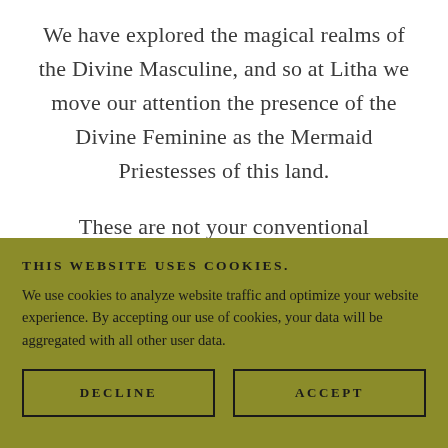We have explored the magical realms of the Divine Masculine, and so at Litha we move our attention the presence of the Divine Feminine as the Mermaid Priestesses of this land.
These are not your conventional
THIS WEBSITE USES COOKIES.
We use cookies to analyze website traffic and optimize your website experience. By accepting our use of cookies, your data will be aggregated with all other user data.
DECLINE
ACCEPT